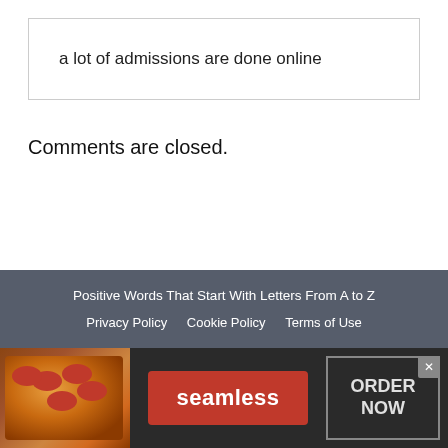a lot of admissions are done online
Comments are closed.
Positive Words That Start With Letters From A to Z | Privacy Policy | Cookie Policy | Terms of Use
[Figure (infographic): Seamless food delivery advertisement banner with pizza image, seamless logo in red button, and ORDER NOW button]